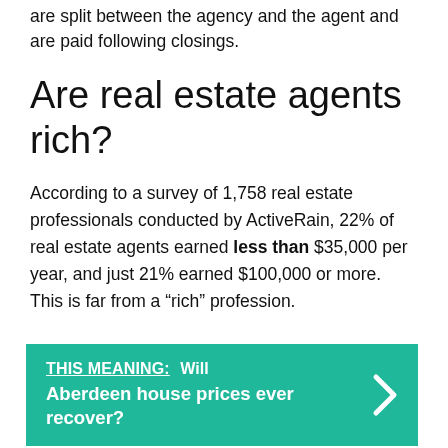are split between the agency and the agent and are paid following closings.
Are real estate agents rich?
According to a survey of 1,758 real estate professionals conducted by ActiveRain, 22% of real estate agents earned less than $35,000 per year, and just 21% earned $100,000 or more. This is far from a “rich” profession.
THIS MEANING: Will Aberdeen house prices ever recover?
Is real estate agent a good job?